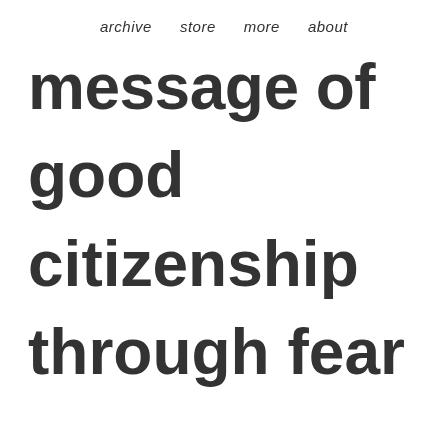archive   store   more   about
message of good citizenship through fear